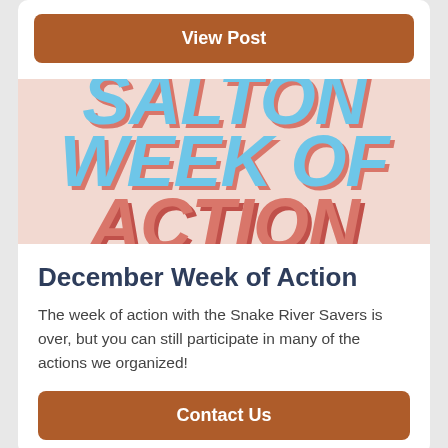View Post
[Figure (illustration): Salton Week of Action graphic with large bold italic text in blue and red/coral tones on a light pink background. Text reads: SALTON WEEK OF ACTION]
December Week of Action
The week of action with the Snake River Savers is over, but you can still participate in many of the actions we organized!
Contact Us